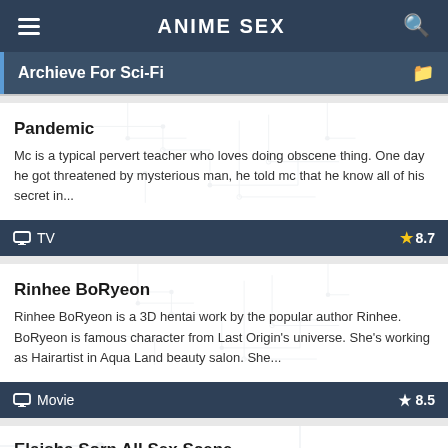ANIME SEX
Archieve For Sci-Fi
Pandemic
Mc is a typical pervert teacher who loves doing obscene thing. One day he got threatened by mysterious man, he told mc that he know all of his secret in...
TV  ★ 8.7
Rinhee BoRyeon
Rinhee BoRyeon is a 3D hentai work by the popular author Rinhee. BoRyeon is famous character from Last Origin's universe. She's working as Hairartist in Aqua Land beauty salon. She...
Movie  ★ 8.5
Elaisha Sorn All Sex Scene